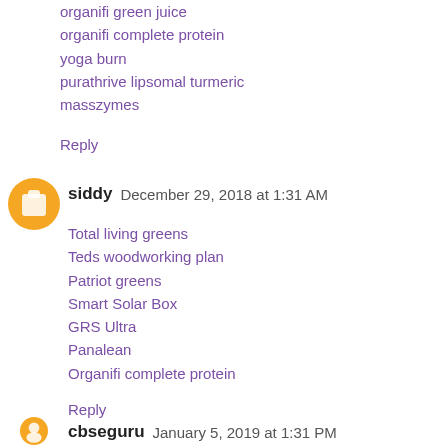organifi green juice
organifi complete protein
yoga burn
purathrive lipsomal turmeric
masszymes
Reply
siddy  December 29, 2018 at 1:31 AM
Total living greens
Teds woodworking plan
Patriot greens
Smart Solar Box
GRS Ultra
Panalean
Organifi complete protein
Reply
cbseguru  January 5, 2019 at 1:31 PM